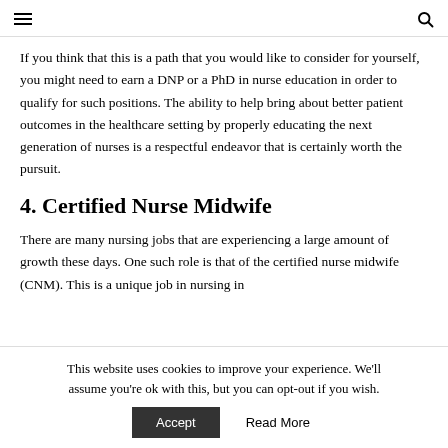☰ [search icon]
If you think that this is a path that you would like to consider for yourself, you might need to earn a DNP or a PhD in nurse education in order to qualify for such positions. The ability to help bring about better patient outcomes in the healthcare setting by properly educating the next generation of nurses is a respectful endeavor that is certainly worth the pursuit.
4. Certified Nurse Midwife
There are many nursing jobs that are experiencing a large amount of growth these days. One such role is that of the certified nurse midwife (CNM). This is a unique job in nursing in
This website uses cookies to improve your experience. We'll assume you're ok with this, but you can opt-out if you wish.